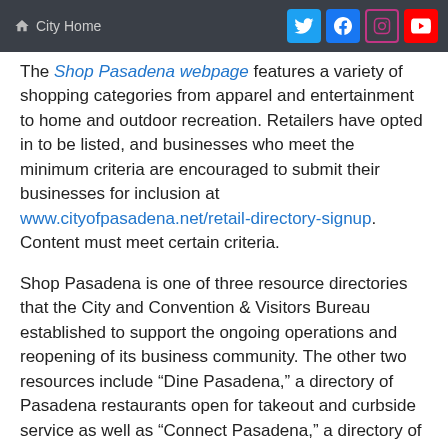City Home
The Shop Pasadena webpage features a variety of shopping categories from apparel and entertainment to home and outdoor recreation. Retailers have opted in to be listed, and businesses who meet the minimum criteria are encouraged to submit their businesses for inclusion at www.cityofpasadena.net/retail-directory-signup. Content must meet certain criteria.
Shop Pasadena is one of three resource directories that the City and Convention & Visitors Bureau established to support the ongoing operations and reopening of its business community. The other two resources include “Dine Pasadena,” a directory of Pasadena restaurants open for takeout and curbside service as well as “Connect Pasadena,” a directory of curated educational and engaging content from Pasadena businesses and cultural institutions. With school out and summer camps yet to reopen, Connect Pasadena is a great source for